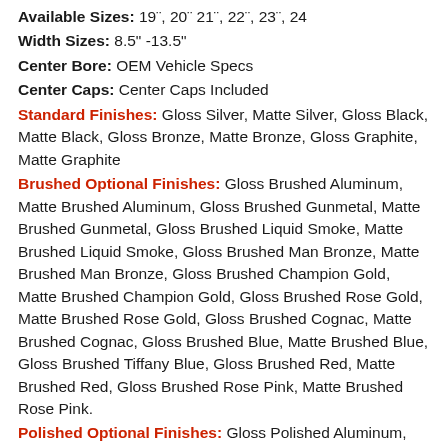Available Sizes: 19", 20" 21", 22", 23", 24
Width Sizes: 8.5" -13.5"
Center Bore: OEM Vehicle Specs
Center Caps: Center Caps Included
Standard Finishes: Gloss Silver, Matte Silver, Gloss Black, Matte Black, Gloss Bronze, Matte Bronze, Gloss Graphite, Matte Graphite
Brushed Optional Finishes: Gloss Brushed Aluminum, Matte Brushed Aluminum, Gloss Brushed Gunmetal, Matte Brushed Gunmetal, Gloss Brushed Liquid Smoke, Matte Brushed Liquid Smoke, Gloss Brushed Man Bronze, Matte Brushed Man Bronze, Gloss Brushed Champion Gold, Matte Brushed Champion Gold, Gloss Brushed Rose Gold, Matte Brushed Rose Gold, Gloss Brushed Cognac, Matte Brushed Cognac, Gloss Brushed Blue, Matte Brushed Blue, Gloss Brushed Tiffany Blue, Gloss Brushed Red, Matte Brushed Red, Gloss Brushed Rose Pink, Matte Brushed Rose Pink.
Polished Optional Finishes: Gloss Polished Aluminum, Matte Polished Aluminum, Gloss Polished Gunmetal, Gloss Polished Man Bronze.
Bolt Pattern: OEM Vehicle Specs